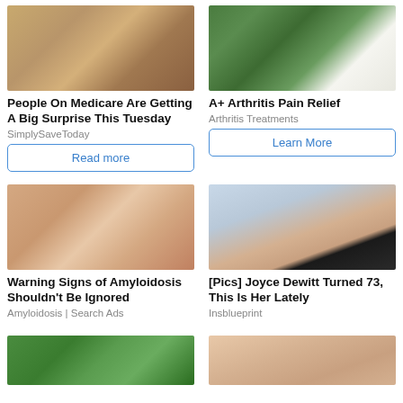[Figure (photo): Hands handling cash/money documents on a table]
People On Medicare Are Getting A Big Surprise This Tuesday
SimplySaveToday
Read more
[Figure (photo): Aloe vera slices with white cream/powder in bowls on wooden surface]
A+ Arthritis Pain Relief
Arthritis Treatments
Learn More
[Figure (photo): Hands massaging a person's foot and ankle]
Warning Signs of Amyloidosis Shouldn't Be Ignored
Amyloidosis | Search Ads
[Figure (photo): Portrait of Joyce Dewitt, woman with dark hair]
[Pics] Joyce Dewitt Turned 73, This Is Her Lately
Insblueprint
[Figure (photo): Outdoor scene with people, green background]
[Figure (photo): Woman in beige/tan top, cropped image]